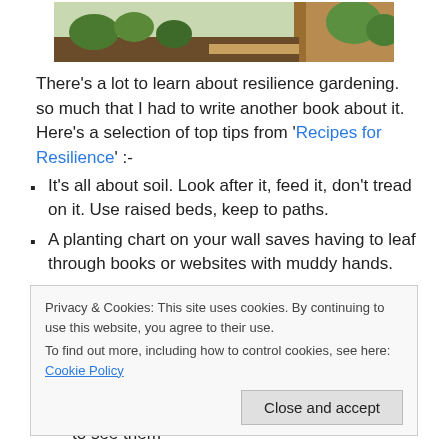[Figure (photo): Partial view of a raised garden bed with plants, wooden frame visible at top of page]
There's a lot to learn about resilience gardening. so much that I had to write another book about it. Here's a selection of top tips from 'Recipes for Resilience' :-
It's all about soil. Look after it, feed it, don't tread on it. Use raised beds, keep to paths.
A planting chart on your wall saves having to leaf through books or websites with muddy hands.
If you don't have an outside tap, fill a bucket with clean
Privacy & Cookies: This site uses cookies. By continuing to use this website, you agree to their use.
To find out more, including how to control cookies, see here: Cookie Policy
Close and accept
they don't make you in the eye. It's hard to see them